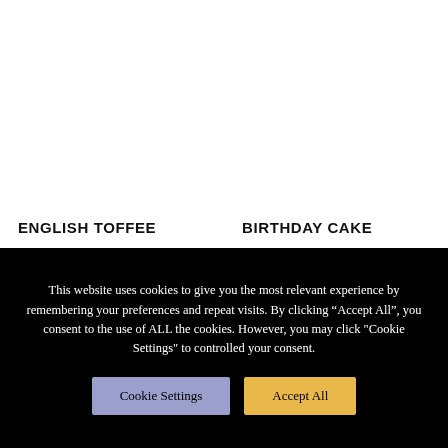ENGLISH TOFFEE
BIRTHDAY CAKE
This website uses cookies to give you the most relevant experience by remembering your preferences and repeat visits. By clicking “Accept All”, you consent to the use of ALL the cookies. However, you may click "Cookie Settings" to controlled your consent.
Cookie Settings
Accept All